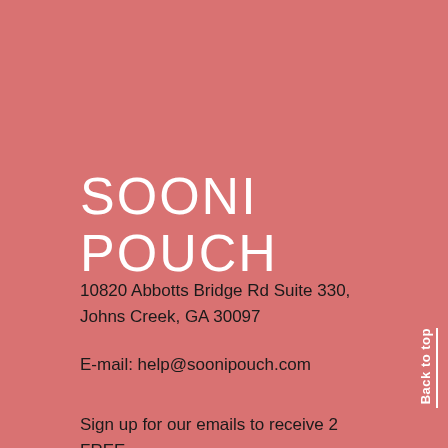SOONI POUCH
10820 Abbotts Bridge Rd Suite 330, Johns Creek, GA 30097
E-mail: help@soonipouch.com
Back to top
Sign up for our emails to receive 2 FREE